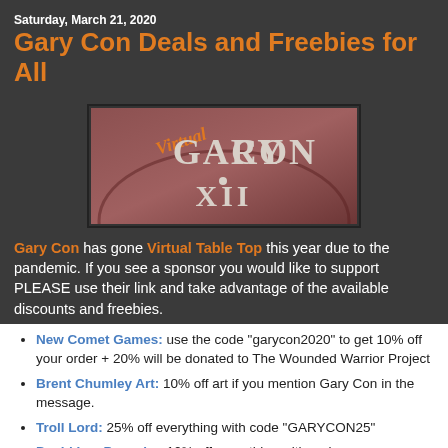Saturday, March 21, 2020
Gary Con Deals and Freebies for All
[Figure (logo): Virtual Gary Con XII logo — copper/brown background with stylized text reading 'Virtual Gary Con XII' in decorative lettering]
Gary Con has gone Virtual Table Top this year due to the pandemic. If you see a sponsor you would like to support PLEASE use their link and take advantage of the available discounts and freebies.
New Comet Games: use the code "garycon2020" to get 10% off your order + 20% will be donated to The Wounded Warrior Project
Brent Chumley Art: 10% off art if you mention Gary Con in the message.
Troll Lord: 25% off everything with code "GARYCON25"
David Lee Pancake: 10% off everything with code "GARYCON10"